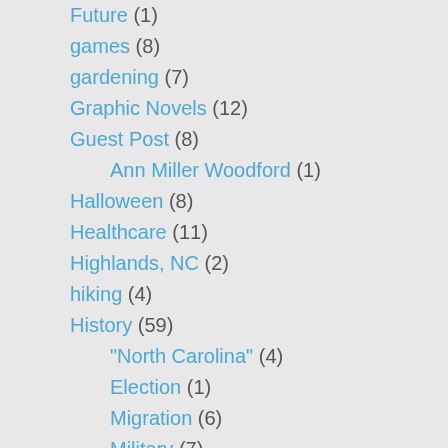Future (1)
games (8)
gardening (7)
Graphic Novels (12)
Guest Post (8)
Ann Miller Woodford (1)
Halloween (8)
Healthcare (11)
Highlands, NC (2)
hiking (4)
History (59)
"North Carolina" (4)
Election (1)
Migration (6)
Military (7)
Vietnam (3)
Women (3)
Hobbies (28)
Holidays (12)
Hudson Library (2)
January (7)